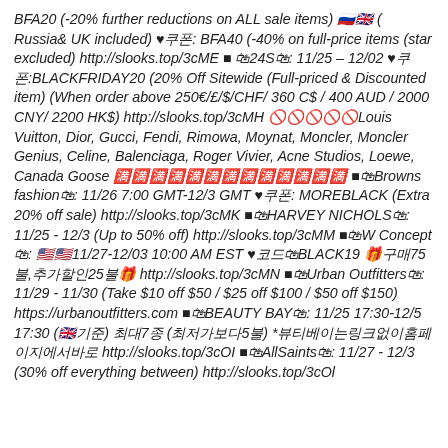BFA20 (-20% further reductions on ALL sale items) 🇷🇺🇬🇧 ( Russia& UK included) ♥쿠폰: BFA40 (-40% on full-price items (star excluded) http://slooks.top/3cME ■ 🛍24S🛍: 11/25 – 12/02 ♥쿠폰:BLACKFRIDAY20 (20% Off Sitewide (Full-priced & Discounted item) (When order above 250€/£/$/CHF/ 360 C$ / 400 AUD / 2000 CNY/ 2200 HK$) http://slooks.top/3cMH 🚫🚫🚫🚫🚫Louis Vuitton, Dior, Gucci, Fendi, Rimowa, Moynat, Moncler, Moncler Genius, Celine, Balenciaga, Roger Vivier, Acne Studios, Loewe, Canada Goose 🈵🈵🈵🈵🈵🈵🈵🈵🈵🈵🈵🈵🈵 ■🛍Browns fashion🛍: 11/26 7:00 GMT-12/3 GMT ♥쿠폰: MOREBLACK (Extra 20% off sale) http://slooks.top/3cMK ■🛍HARVEY NICHOLS🛍: 11/25 - 12/3 (Up to 50% off) http://slooks.top/3cMM ■🛍W Concept🛍: 🇺🇸🇺🇸11/27-12/03 10:00 AM EST ♥코드🛍BLACK19 🎁구매75불,추가할인25불🎁 http://slooks.top/3cMN ■🛍Urban Outfitters🛍: 11/29 - 11/30 (Take $10 off $50 / $25 off $100 / $50 off $150) https://urbanoutfitters.com ■🛍BEAUTY BAY🛍: 11/25 17:30-12/5 17:30 (🇬🇧기준) 최대7종 (최저가보다5불) *뷰티베이는링크없이홈페이지에서바로 http://slooks.top/3cOI ■🛍AllSaints🛍: 11/27 - 12/3 (30% off everything between) http://slooks.top/3cOl